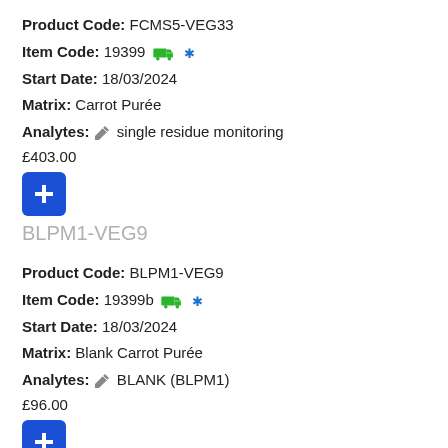Product Code: FCMS5-VEG33
Item Code: 19399 [truck icon] [snowflake icon]
Start Date: 18/03/2024
Matrix: Carrot Purée
Analytes: [pencil icon] single residue monitoring
£403.00
BLPM1-VEG9
Product Code: BLPM1-VEG9
Item Code: 19399b [truck icon] [snowflake icon]
Start Date: 18/03/2024
Matrix: Blank Carrot Purée
Analytes: [pencil icon] BLANK (BLPM1)
£96.00